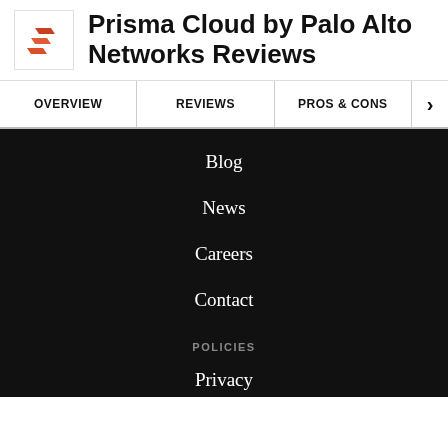Prisma Cloud by Palo Alto Networks Reviews
OVERVIEW
REVIEWS
PROS & CONS
Blog
News
Careers
Contact
POLICIES
Privacy
Cookies
Terms of Use